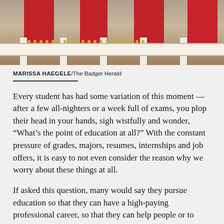[Figure (photo): Photograph of a university building facade with red banners and white columns, viewed from below.]
MARISSA HAEGELE/The Badger Herald
Every student has had some variation of this moment — after a few all-nighters or a week full of exams, you plop their head in your hands, sigh wistfully and wonder, “What’s the point of education at all?” With the constant pressure of grades, majors, resumes, internships and job offers, it is easy to not even consider the reason why we worry about these things at all.
If asked this question, many would say they pursue education so that they can have a high-paying professional career, so that they can help people or to simply be happy and successful. Whatever your